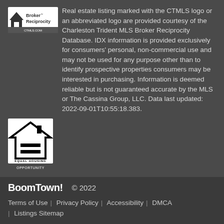Real estate listing marked with the CTMLS logo or an abbreviated logo are provided courtesy of the Charleston Trident MLS Broker Reciprocity Database. IDX information is provided exclusively for consumers' personal, non-commercial use and may not be used for any purpose other than to identify prospective properties consumers may be interested in purchasing. Information is deemed reliable but is not guaranteed accurate by the MLS or The Cassina Group, LLC. Data last updated: 2022-09-01T10:55:18.383.
[Figure (logo): Equal Housing Opportunity logo - house outline with equal sign inside]
BoomTown! © 2022 | Terms of Use | Privacy Policy | Accessibility | DMCA | Listings Sitemap